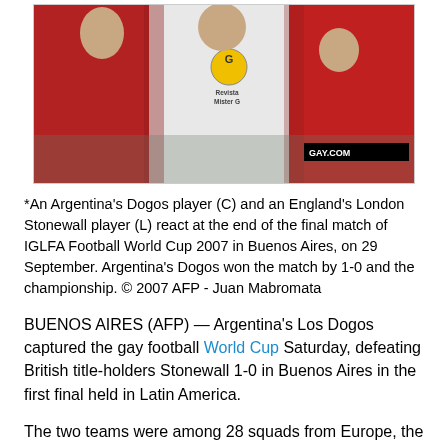[Figure (photo): Three soccer players on a field; the center player in white jersey with 'Revista Mister G' logo and a 'GAY.COM' watermark in corner is standing while two players in red jerseys flank them, one with head bowed. Argentina's Dogos vs England's London Stonewall, IGLFA Football World Cup 2007.]
*An Argentina's Dogos player (C) and an England's London Stonewall player (L) react at the end of the final match of IGLFA Football World Cup 2007 in Buenos Aires, on 29 September. Argentina's Dogos won the match by 1-0 and the championship. © 2007 AFP - Juan Mabromata
BUENOS AIRES (AFP) — Argentina's Los Dogos captured the gay football World Cup Saturday, defeating British title-holders Stonewall 1-0 in Buenos Aires in the first final held in Latin America.
The two teams were among 28 squads from Europe, the Americas and Australia that participated in the 10th gay football world championship aimed at highlighting the fight